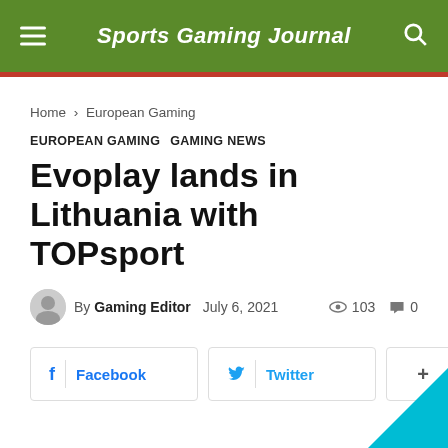Sports Gaming Journal
Home › European Gaming
EUROPEAN GAMING  GAMING NEWS
Evoplay lands in Lithuania with TOPsport
By Gaming Editor   July 6, 2021   103 views   0 comments
[Figure (infographic): Social share buttons: Facebook, Twitter, and a plus button]